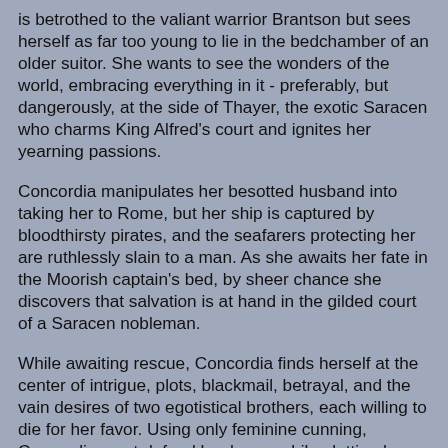is betrothed to the valiant warrior Brantson but sees herself as far too young to lie in the bedchamber of an older suitor. She wants to see the wonders of the world, embracing everything in it - preferably, but dangerously, at the side of Thayer, the exotic Saracen who charms King Alfred's court and ignites her yearning passions.
Concordia manipulates her besotted husband into taking her to Rome, but her ship is captured by bloodthirsty pirates, and the seafarers protecting her are ruthlessly slain to a man. As she awaits her fate in the Moorish captain's bed, by sheer chance she discovers that salvation is at hand in the gilded court of a Saracen nobleman.
While awaiting rescue, Concordia finds herself at the center of intrigue, plots, blackmail, betrayal, and the vain desires of two egotistical brothers, each willing to die for her favor. Using only feminine cunning, Concordia must defend her honor while plotting her escape as she awaits deliverance somewhere inside steamy, unconquered Muslim Hispania.
Listen to the Preface HERE